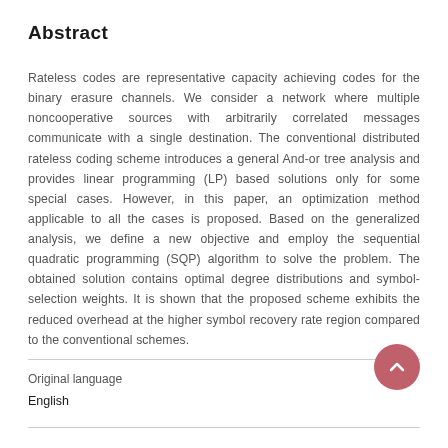Abstract
Rateless codes are representative capacity achieving codes for the binary erasure channels. We consider a network where multiple noncooperative sources with arbitrarily correlated messages communicate with a single destination. The conventional distributed rateless coding scheme introduces a general And-or tree analysis and provides linear programming (LP) based solutions only for some special cases. However, in this paper, an optimization method applicable to all the cases is proposed. Based on the generalized analysis, we define a new objective and employ the sequential quadratic programming (SQP) algorithm to solve the problem. The obtained solution contains optimal degree distributions and symbol-selection weights. It is shown that the proposed scheme exhibits the reduced overhead at the higher symbol recovery rate region compared to the conventional schemes.
Original language
English